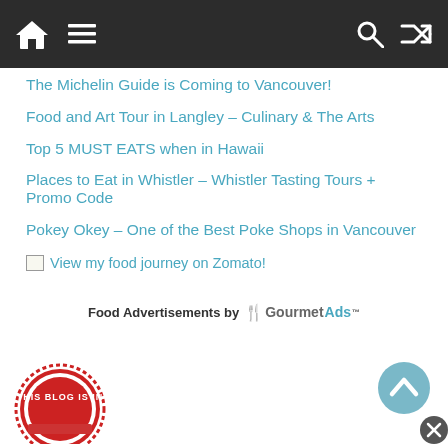Navigation bar with home, menu, search, and shuffle icons
The Michelin Guide is Coming to Vancouver!
Food and Art Tour in Langley – Culinary & The Arts
Top 5 MUST EATS when in Hawaii
Places to Eat in Whistler – Whistler Tasting Tours + Promo Code
Pokey Okey – One of the Best Poke Shops in Vancouver
[Figure (logo): View my food journey on Zomato! badge/link with broken image placeholder]
Food Advertisements by GourmetAds™
[Figure (logo): THIS BLOG IS IN badge - circular red stamp style badge at bottom left]
[Figure (other): Back to top chevron arrow at bottom right]
[Figure (other): Close/dismiss button at far bottom right]